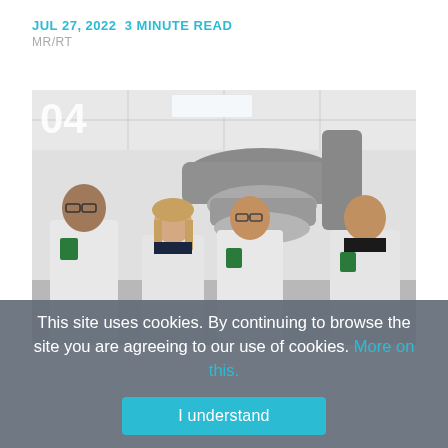JUL 27, 2022  3 MINUTE READ
MR/RT
[Figure (photo): Four healthcare professionals in white lab coats standing in front of a radiation therapy machine (linear accelerator) in a medical facility. A large number '04' appears in the upper left corner of the image.]
This site uses cookies. By continuing to browse the site you are agreeing to our use of cookies. More on this.
I understand